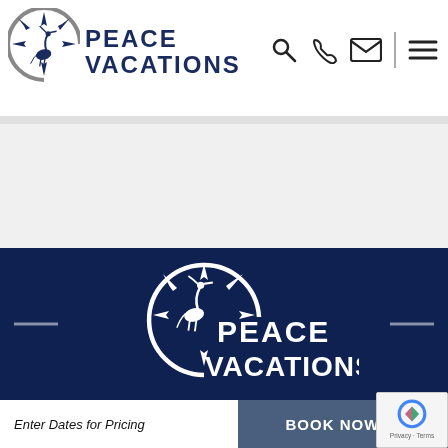[Figure (logo): Peace Vacations logo with heron bird inside compass rose and bold text 'PEACE VACATIONS' in dark navy blue]
[Figure (screenshot): Navigation icons: search magnifier, phone handset, envelope/email, vertical divider, hamburger menu lines]
[Figure (logo): Peace Vacations logo centered on dark navy blue banner background, white version with heron compass rose and 'PEACE VACATIONS' text, with left and right slider arrows]
Enter Dates for Pricing
BOOK NOW →